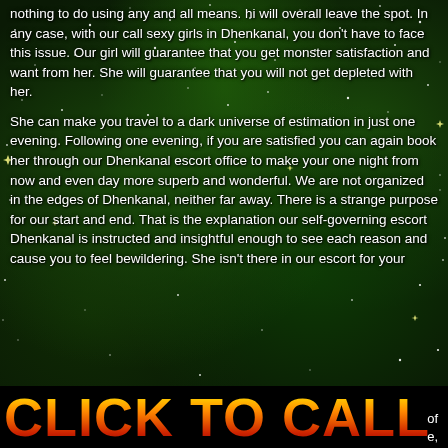nothing to do using any and all means. hi will overall leave the spot. In any case, with our call sexy girls in Dhenkanal, you don't have to face this issue. Our girl will guarantee that you get monster satisfaction and want from her. She will guarantee that you will not get depleted with her.
She can make you travel to a dark universe of estimation in just one evening. Following one evening, if you are satisfied you can again book her through our Dhenkanal escort office to make your one night from now and even day more superb and wonderful. We are not organized in the edges of Dhenkanal, neither far away. There is a strange purpose for our start and end. That is the explanation our self-governing escort Dhenkanal is instructed and insightful enough to see each reason and cause you to feel bewildering. She isn't there in our escort for your
CLICK TO CALL